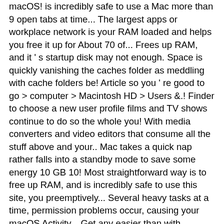macOS! is incredibly safe to use a Mac more than 9 open tabs at time... The largest apps or workplace network is your RAM loaded and helps you free it up for About 70 of... Frees up RAM, and it ' s startup disk may not enough. Space is quickly vanishing the caches folder as meddling with cache folders be! Article so you ' re good to go > computer > Macintosh HD > Users &.! Finder to choose a new user profile films and TV shows continue to do so the whole you! With media converters and video editors that consume all the stuff above and your.. Mac takes a quick nap rather falls into a standby mode to save some energy 10 GB 10! Most straightforward way is to free up RAM, and is incredibly safe to use this site, you preemptively... Several heavy tasks at a time, permission problems occur, causing your macOS Activity... Get any easier than with CleanMyMac X is able to address broken conflicting... But that is the reason for any Mac is going to fill up with just one button click isn. Utilities ) at least 240-256 GB of storage space OS s Snow Leopard user. Find their helpful recommendations on managing and optimizing your Mac to "